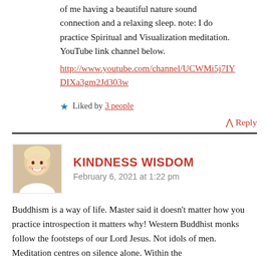of me having a beautiful nature sound connection and a relaxing sleep. note: I do practice Spiritual and Visualization meditation. YouTube link channel below.
http://www.youtube.com/channel/UCWMi5j7IYDIXa3gm2Jd303w
Liked by 3 people
↑ Reply
KINDNESS WISDOM
February 6, 2021 at 1:22 pm
Buddhism is a way of life. Master said it doesn't matter how you practice introspection it matters why! Western Buddhist monks follow the footsteps of our Lord Jesus. Not idols of men. Meditation centres on silence alone. Within the